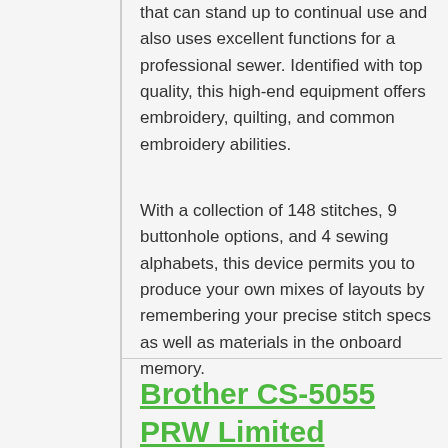that can stand up to continual use and also uses excellent functions for a professional sewer. Identified with top quality, this high-end equipment offers embroidery, quilting, and common embroidery abilities.
With a collection of 148 stitches, 9 buttonhole options, and 4 sewing alphabets, this device permits you to produce your own mixes of layouts by remembering your precise stitch specs as well as materials in the onboard memory.
Brother CS-5055 PRW Limited Edition Project Runway 50 Stitch